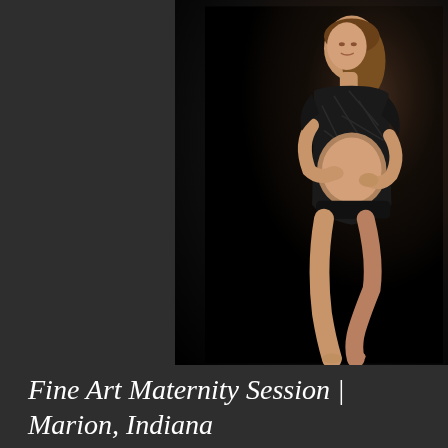[Figure (photo): Fine art maternity photography portrait of a pregnant woman in a black sheer bodysuit against a dark background, posing with hands on belly and one leg raised, studio lighting]
Fine Art Maternity Session | Marion, Indiana